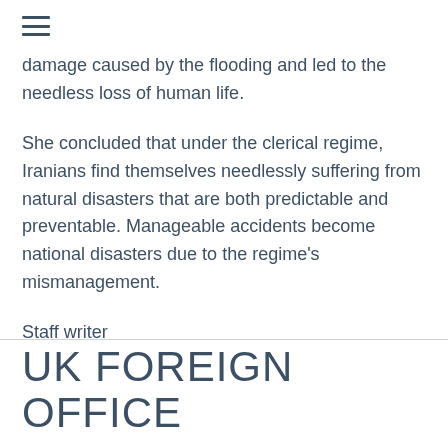≡
damage caused by the flooding and led to the needless loss of human life.
She concluded that under the clerical regime, Iranians find themselves needlessly suffering from natural disasters that are both predictable and preventable. Manageable accidents become national disasters due to the regime's mismanagement.
Staff writer
UK FOREIGN OFFICE